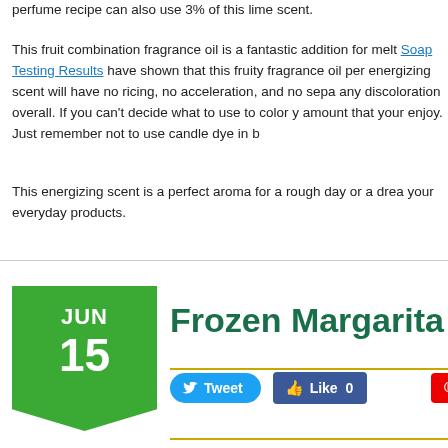perfume recipe can also use 3% of this lime scent.
This fruit combination fragrance oil is a fantastic addition for melt... Soap Testing Results have shown that this fruity fragrance oil per... energizing scent will have no ricing, no acceleration, and no sepa... any discoloration overall. If you can't decide what to use to color y... amount that your enjoy. Just remember not to use candle dye in b...
This energizing scent is a perfect aroma for a rough day or a drea... your everyday products.
Frozen Margarita Fragr…
JUN 15
[Figure (other): Social share buttons: Tweet, Like 0, Save (Pinterest), Yum]